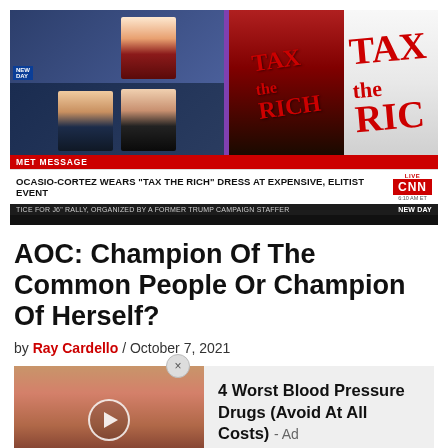[Figure (screenshot): CNN broadcast screenshot showing AOC 'Tax The Rich' dress at Met Gala, with chyron reading 'OCASIO-CORTEZ WEARS TAX THE RICH DRESS AT EXPENSIVE, ELITIST EVENT']
AOC: Champion Of The Common People Or Champion Of Herself?
by Ray Cardello / October 7, 2021
[Figure (photo): Ad image showing close-up of mouth with blue pill on tongue and video play button overlay]
4 Worst Blood Pressure Drugs (Avoid At All Costs) - Ad